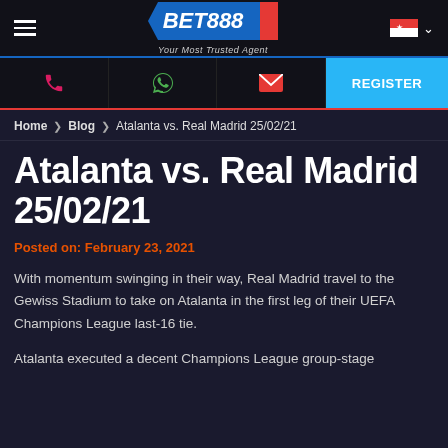[Figure (logo): Bet888 logo with blue hexagonal badge and tagline 'Your Most Trusted Agent']
Home > Blog > Atalanta vs. Real Madrid 25/02/21
Atalanta vs. Real Madrid 25/02/21
Posted on: February 23, 2021
With momentum swinging in their way, Real Madrid travel to the Gewiss Stadium to take on Atalanta in the first leg of their UEFA Champions League last-16 tie.
Atalanta executed a decent Champions League group-stage